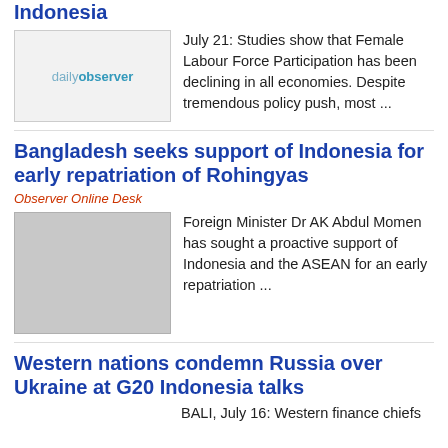Indonesia
[Figure (photo): Daily Observer logo placeholder thumbnail]
July 21: Studies show that Female Labour Force Participation has been declining in all economies. Despite tremendous policy push, most ...
Bangladesh seeks support of Indonesia for early repatriation of Rohingyas
Observer Online Desk
[Figure (photo): Gray placeholder thumbnail image]
Foreign Minister Dr AK Abdul Momen has sought a proactive support of Indonesia and the ASEAN for an early repatriation ...
Western nations condemn Russia over Ukraine at G20 Indonesia talks
BALI, July 16: Western finance chiefs